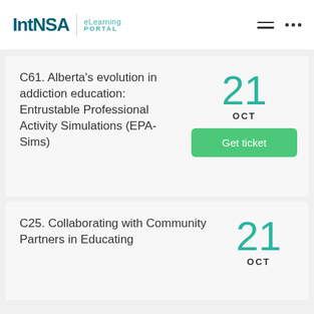IntNSA | eLearning PORTAL
C61. Alberta's evolution in addiction education: Entrustable Professional Activity Simulations (EPA-Sims)
21 OCT
Get ticket
C25. Collaborating with Community Partners in Educating
21 OCT